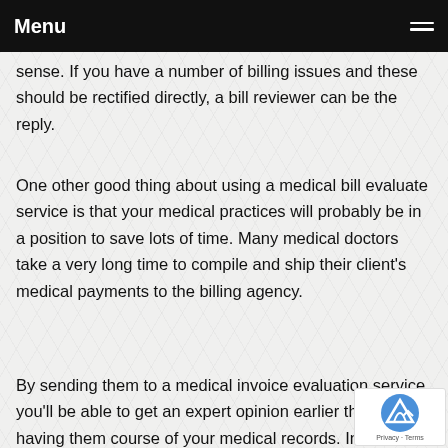Menu
sense. If you have a number of billing issues and these should be rectified directly, a bill reviewer can be the reply.
One other good thing about using a medical bill evaluate service is that your medical practices will probably be in a position to save lots of time. Many medical doctors take a very long time to compile and ship their client's medical payments to the billing agency.
By sending them to a medical invoice evaluation servi... you'll be able to get an expert opinion earlier than yo... to having them course of your medical records. In this...